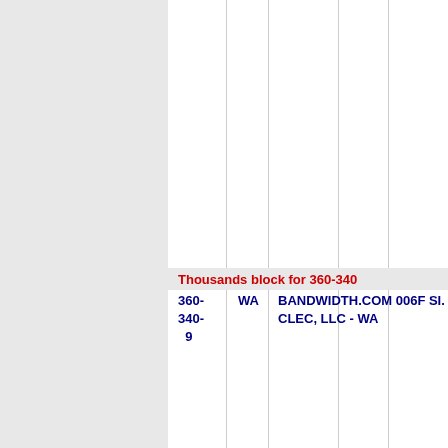Thousands block for 360-340
| NPA-NXX | State | Company | OCN | Type |
| --- | --- | --- | --- | --- |
| 360-340-9 | WA | BANDWIDTH.COM 006F CLEC, LLC - WA |  |  |